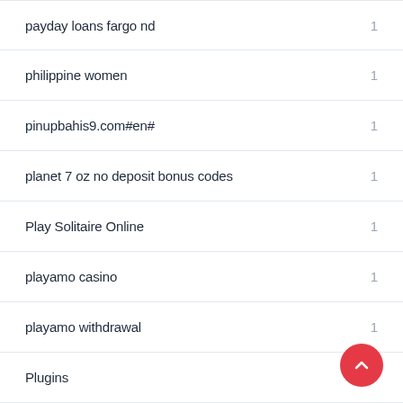payday loans fargo nd — 1
philippine women — 1
pinupbahis9.com#en# — 1
planet 7 oz no deposit bonus codes — 1
Play Solitaire Online — 1
playamo casino — 1
playamo withdrawal — 1
Plugins